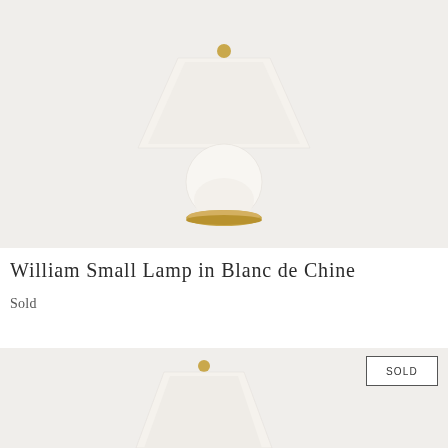[Figure (photo): Product photo of William Small Lamp in Blanc de Chine — a white ceramic gourd-shaped table lamp with a cream empire shade and gold brass base, on a light gray background.]
William Small Lamp in Blanc de Chine
Sold
[Figure (photo): Partial product photo of a second lamp (similar style, cream/white with gold finial) on a light gray background, with a SOLD badge overlay in the top-right corner.]